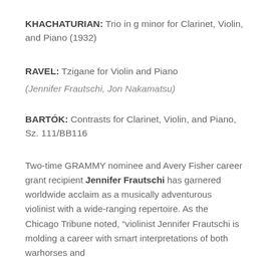KHACHATURIAN: Trio in g minor for Clarinet, Violin, and Piano (1932)
RAVEL: Tzigane for Violin and Piano
(Jennifer Frautschi, Jon Nakamatsu)
BARTÓK: Contrasts for Clarinet, Violin, and Piano, Sz. 111/BB116
Two-time GRAMMY nominee and Avery Fisher career grant recipient Jennifer Frautschi has garnered worldwide acclaim as a musically adventurous violinist with a wide-ranging repertoire. As the Chicago Tribune noted, “violinist Jennifer Frautschi is molding a career with smart interpretations of both warhorses and